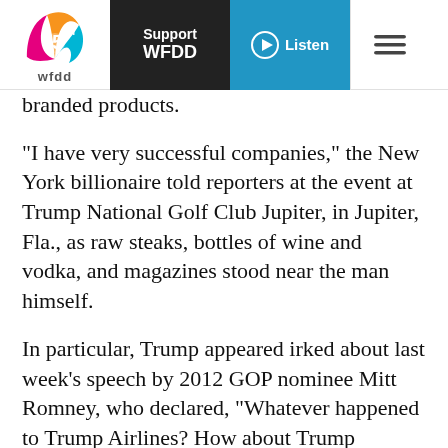[Figure (logo): WFDD 75th anniversary logo with colorful swirl and wfdd text below]
Support WFDD
[Figure (other): Listen button with play icon]
[Figure (other): Hamburger menu icon]
branded products.
"I have very successful companies," the New York billionaire told reporters at the event at Trump National Golf Club Jupiter, in Jupiter, Fla., as raw steaks, bottles of wine and vodka, and magazines stood near the man himself.
In particular, Trump appeared irked about last week's speech by 2012 GOP nominee Mitt Romney, who declared, "Whatever happened to Trump Airlines? How about Trump University? And then there's Trump magazine and Trump Vodka and Trump Steaks and Trump Mortgage. A business genius he is not."